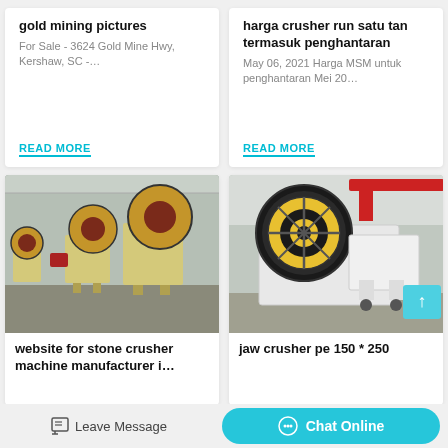gold mining pictures
For Sale - 3624 Gold Mine Hwy, Kershaw, SC -…
READ MORE
harga crusher run satu tan termasuk penghantaran
May 06, 2021 Harga MSM untuk penghantaran Mei 20…
READ MORE
[Figure (photo): Multiple jaw crusher machines in a warehouse/factory floor, beige and red colored, large flywheels visible]
website for stone crusher machine manufacturer i…
[Figure (photo): Close-up of a jaw crusher pe 150*250, white and yellow colored, in an industrial factory setting with red overhead beams]
jaw crusher pe 150 * 250
Leave Message
Chat Online